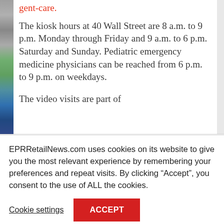gent-care.
The kiosk hours at 40 Wall Street are 8 a.m. to 9 p.m. Monday through Friday and 9 a.m. to 6 p.m. Saturday and Sunday. Pediatric emergency medicine physicians can be reached from 6 p.m. to 9 p.m. on weekdays.
The video visits are part of
EPRRetailNews.com uses cookies on its website to give you the most relevant experience by remembering your preferences and repeat visits. By clicking “Accept”, you consent to the use of ALL the cookies.
Cookie settings
ACCEPT